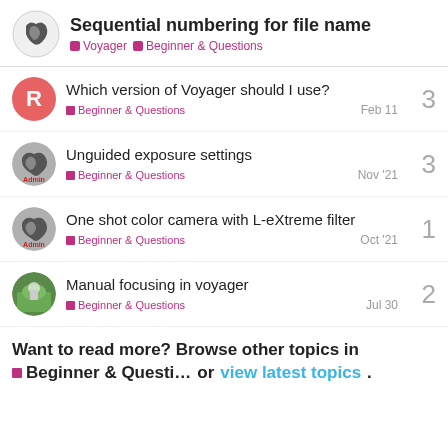Sequential numbering for file name — Voyager > Beginner & Questions
Which version of Voyager should I use? — Beginner & Questions — Feb 11 — 3 replies
Unguided exposure settings — Beginner & Questions — Nov '21 — 3 replies
One shot color camera with L-eXtreme filter — Beginner & Questions — Oct '21 — 1 reply
Manual focusing in voyager — Beginner & Questions — Jul 30 — 2 replies
Want to read more? Browse other topics in Beginner & Questi… or view latest topics.